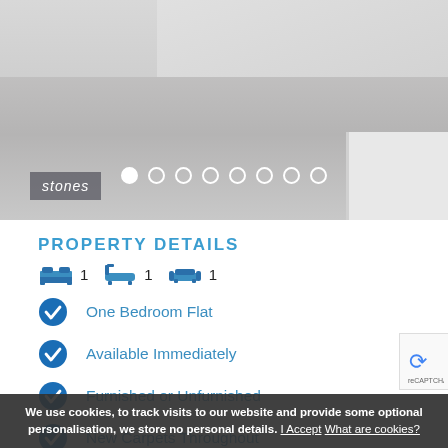[Figure (photo): Interior photo of an empty carpeted room with white walls and skirting boards, with a carousel dot indicator and 'stones' logo overlay]
PROPERTY DETAILS
🛏 1  🛁 1  🛋 1
One Bedroom Flat
Available Immediately
Furnished or Unfurnished
New Carpets Throughout
Kitchen Diner
Great Views over London's Skyline
We use cookies, to track visits to our website and provide some optional personalisation, we store no personal details. I Accept What are cookies?